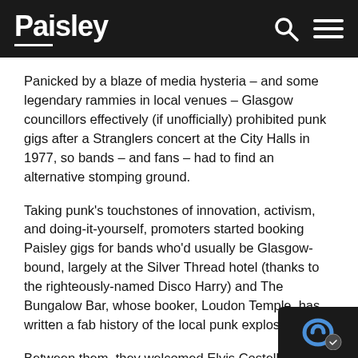Paisley
Panicked by a blaze of media hysteria – and some legendary rammies in local venues – Glasgow councillors effectively (if unofficially) prohibited punk gigs after a Stranglers concert at the City Halls in 1977, so bands – and fans – had to find an alternative stomping ground.
Taking punk's touchstones of innovation, activism, and doing-it-yourself, promoters started booking Paisley gigs for bands who'd usually be Glasgow-bound, largely at the Silver Thread hotel (thanks to the righteously-named Disco Harry) and The Bungalow Bar, whose booker, Loudon Temple, has written a fab history of the local punk explosion.
Between them, they welcomed Elvis Costello, Buzz…Paul Young's Q-Tips, the Boomtown Rats, Echo and…Bunnyman, Orange Juice, Aztec Camera and cou…